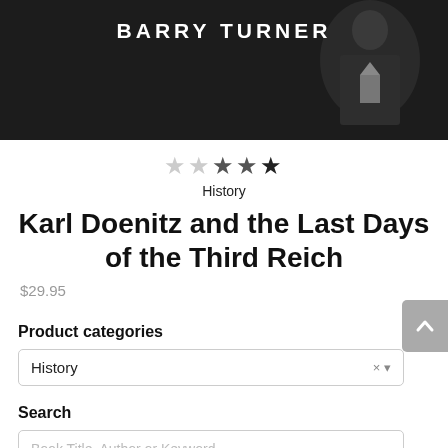[Figure (photo): Black and white book cover image showing author name BARRY TURNER at the top, with a figure wearing a uniform visible in the background]
★★★★★ (2 filled, 3 empty stars) rating
History
Karl Doenitz and the Last Days of the Third Reich
$29.95
Product categories
History
Search
Book Title, Author or Keyword